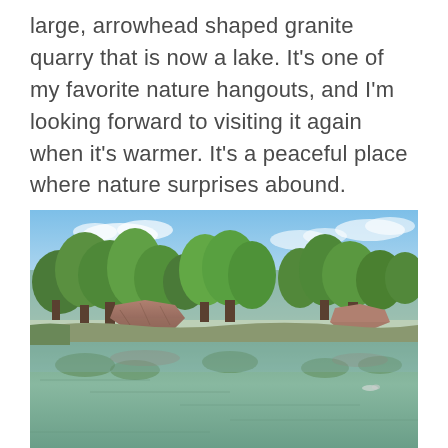large, arrowhead shaped granite quarry that is now a lake. It's one of my favorite nature hangouts, and I'm looking forward to visiting it again when it's warmer. It's a peaceful place where nature surprises abound.
[Figure (photo): Outdoor photograph of a former granite quarry now filled with water, forming a lake. Lush green trees line the rocky banks. The calm water reflects the trees and blue sky with scattered clouds. Granite rock formations are visible at the water's edge.]